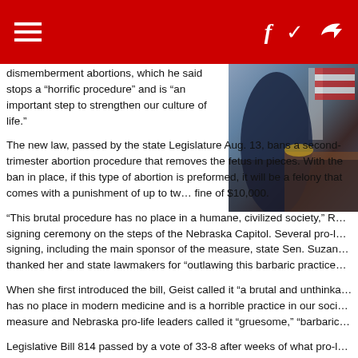Navigation and social icons header bar
[Figure (photo): Photo of a person in a suit, partially visible, with an American flag in the background, taken at what appears to be an official government setting.]
dismemberment abortions, which he said stops a “horrific procedure” and is “an important step to strengthen our culture of life.”
The new law, passed by the state Legislature Aug. 13, bans a second-trimester abortion procedure that removes the fetus in pieces. With the ban in place, if this type of abortion is preformed, it will be a felony that comes with a punishment of up to two years in prison and a fine of $10,000.
“This brutal procedure has no place in a humane, civilized society,” R... said at the signing ceremony on the steps of the Nebraska Capitol. Several pro-life supporters attended the signing, including the main sponsor of the measure, state Sen. Suzan... R... thanked her and state lawmakers for “outlawing this barbaric practice.”
When she first introduced the bill, Geist called it “a brutal and unthinkable procedure that has no place in modern medicine and is a horrible practice in our society.” Sponsors of the measure and Nebraska pro-life leaders called it “gruesome,” “barbaric” and “inhuman.”
Legislative Bill 814 passed by a vote of 33-8 after weeks of what pro-life leaders called political maneuvering by its opponents that almost saw the measure languish in the Legislature. The bill nearly failed because of a filibuster Aug. 5. But lawmakers garnered the votes needed to overcome the filibuster.